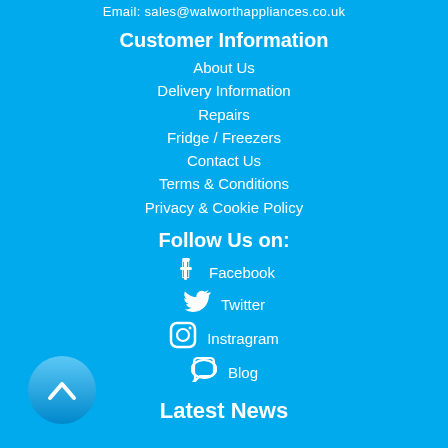Email: sales@walworthappliances.co.uk
Customer Information
About Us
Delivery Information
Repairs
Fridge / Freezers
Contact Us
Terms & Conditions
Privacy & Cookie Policy
Follow Us on:
Facebook
Twitter
Instragram
Blog
Latest News